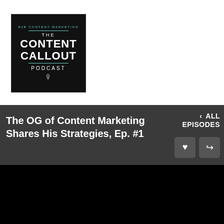[Figure (logo): The Content Callout Podcast logo — black square with cyan/teal border lines, white bold text reading CONTENT CALLOUT, with THE above and PODCAST below, microphone icon at bottom]
The OG of Content Marketing Shares His Strategies, Ep. #1
< ALL EPISODES
[Figure (logo): The Content Callout podcast graphic — black background with cyan rounded rectangle border, THE in cyan with horizontal lines on each side, CONTENT CALLOUT in large bold white text]